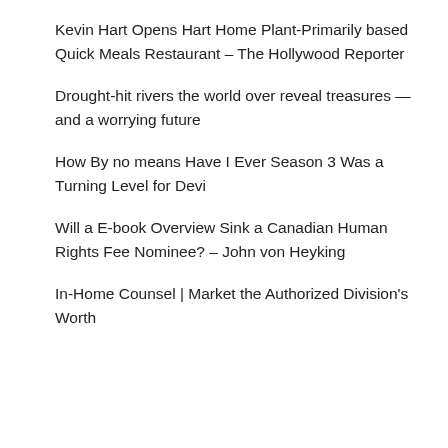Kevin Hart Opens Hart Home Plant-Primarily based Quick Meals Restaurant – The Hollywood Reporter
Drought-hit rivers the world over reveal treasures — and a worrying future
How By no means Have I Ever Season 3 Was a Turning Level for Devi
Will a E-book Overview Sink a Canadian Human Rights Fee Nominee? – John von Heyking
In-Home Counsel | Market the Authorized Division's Worth